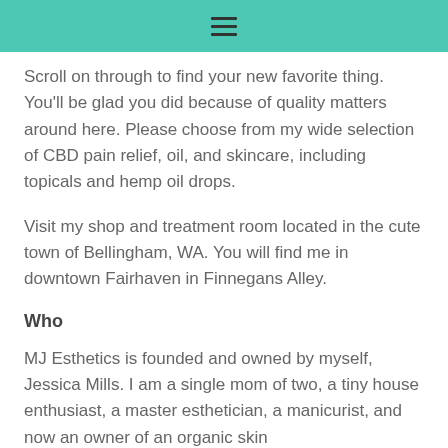☰
Scroll on through to find your new favorite thing. You'll be glad you did because of quality matters around here. Please choose from my wide selection of CBD pain relief, oil, and skincare, including topicals and hemp oil drops.
Visit my shop and treatment room located in the cute town of Bellingham, WA. You will find me in downtown Fairhaven in Finnegans Alley.
Who
MJ Esthetics is founded and owned by myself, Jessica Mills. I am a single mom of two, a tiny house enthusiast, a master esthetician, a manicurist, and now an owner of an organic skin